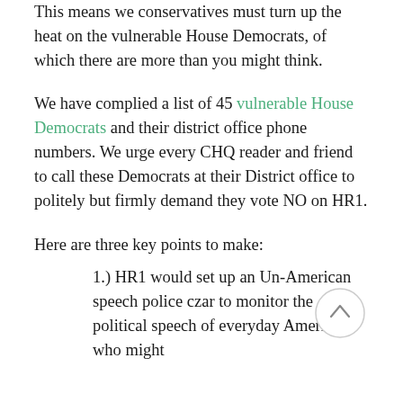This means we conservatives must turn up the heat on the vulnerable House Democrats, of which there are more than you might think.
We have complied a list of 45 vulnerable House Democrats and their district office phone numbers. We urge every CHQ reader and friend to call these Democrats at their District office to politely but firmly demand they vote NO on HR1.
Here are three key points to make:
1.) HR1 would set up an Un-American speech police czar to monitor the political speech of everyday Americans who might